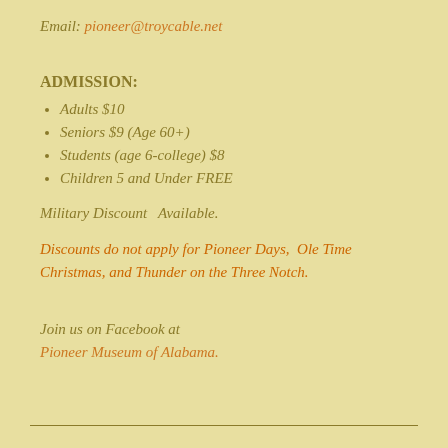Email: pioneer@troycable.net
ADMISSION:
Adults $10
Seniors $9 (Age 60+)
Students (age 6-college) $8
Children 5 and Under FREE
Military Discount  Available.
Discounts do not apply for Pioneer Days,  Ole Time Christmas, and Thunder on the Three Notch.
Join us on Facebook at
Pioneer Museum of Alabama.